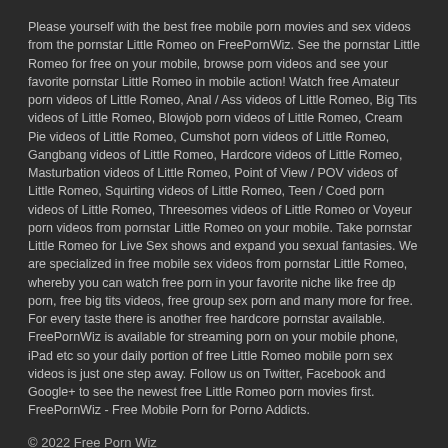Please yourself with the best free mobile porn movies and sex videos from the pornstar Little Romeo on FreePornWiz. See the pornstar Little Romeo for free on your mobile, browse porn videos and see your favorite pornstar Little Romeo in mobile action! Watch free Amateur porn videos of Little Romeo, Anal / Ass videos of Little Romeo, Big Tits videos of Little Romeo, Blowjob porn videos of Little Romeo, Cream Pie videos of Little Romeo, Cumshot porn videos of Little Romeo, Gangbang videos of Little Romeo, Hardcore videos of Little Romeo, Masturbation videos of Little Romeo, Point of View / POV videos of Little Romeo, Squirting videos of Little Romeo, Teen / Coed porn videos of Little Romeo, Threesomes videos of Little Romeo or Voyeur porn videos from pornstar Little Romeo on your mobile. Take pornstar Little Romeo for Live Sex shows and expand you sexual fantasies. We are specialized in free mobile sex videos from pornstar Little Romeo, whereby you can watch free porn in your favorite niche like free dp porn, free big tits videos, free group sex porn and many more for free. For every taste there is another free hardcore pornstar available. FreePornWiz is available for streaming porn on your mobile phone, iPad etc so your daily portion of free Little Romeo mobile porn sex videos is just one step away. Follow us on Twitter, Facebook and Google+ to see the newest free Little Romeo porn movies first. FreePornWiz - Free Mobile Porn for Porno Addicts.
© 2022 Free Porn Wiz
DMCA   Privacy   Community Guidelines   Terms of Service
All models were over the age of 18 at time of photography.
18 U.S.C. 2257 Record-Keeping Requirements Compliance Statement